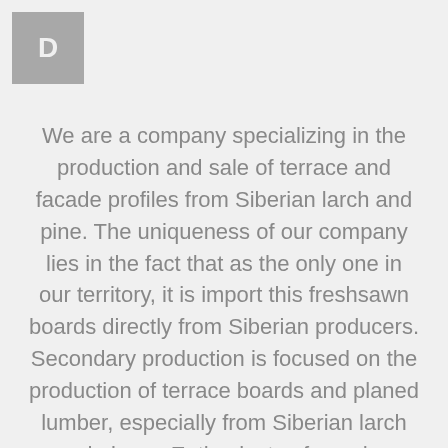[Figure (logo): Gray square logo box with a letter 'D' in lighter gray]
We are a company specializing in the production and sale of terrace and facade profiles from Siberian larch and pine. The uniqueness of our company lies in the fact that as the only one in our territory, it is import this freshsawn boards directly from Siberian producers. Secondary production is focused on the production of terrace boards and planed lumber, especially from Siberian larch and pine ... Enthusiasts of wooden buildings can choose from our wide range of various planed lumber, s4s, TNG and the like. Carpenters will also enjoy themselves, who will be particularly interested in large-scale material to produce kitchen units, built-in cabinets and other furniture.